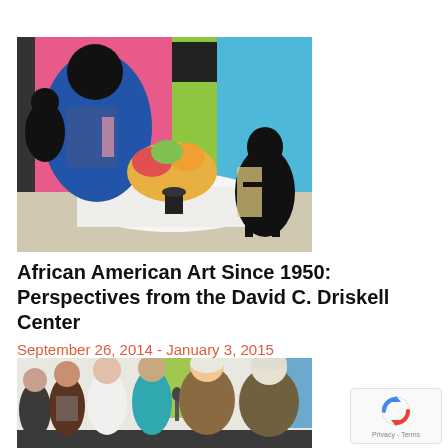[Figure (photo): Colorful painting showing figures including people in a domestic scene with flowers on a table, pink and blue background colors, vibrant African American art style]
African American Art Since 1950: Perspectives from the David C. Driskell Center
September 26, 2014 - January 3, 2015
[Figure (photo): Group of people standing, appearing to be at a gallery or event opening, one person speaking into a microphone, colorful paintings visible in background]
[Figure (other): reCAPTCHA badge showing Privacy - Terms]